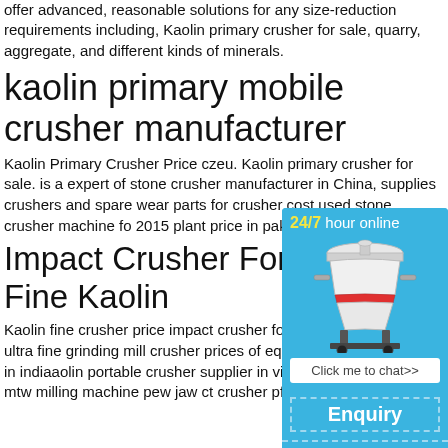offer advanced, reasonable solutions for any size-reduction requirements including, Kaolin primary crusher for sale, quarry, aggregate, and different kinds of minerals.
kaolin primary mobile crusher manufacturer
Kaolin Primary Crusher Price czeu. Kaolin primary crusher for sale. is a expert of stone crusher manufacturer in China, supplies crushers and spare wear parts for crusher cost used stone crusher machine fo 2015 plant price in pakistan stone crusher p
Impact Crusher For Pro Fine Kaolin
Kaolin fine crusher price impact crusher for kaolin invest cost in , ultra fine grinding mill crusher prices of equipment for aolin mobile in indiaaolin portable crusher supplier in vietn y crusher price , mtw milling machine pew jaw ct crusher pfw impact.
[Figure (infographic): Sidebar widget with blue background showing '24/7 hour online' header, image of a cone crusher machine, 'Click me to chat>>' button, 'Enquiry' section, and 'limingjlmofen' text at bottom.]